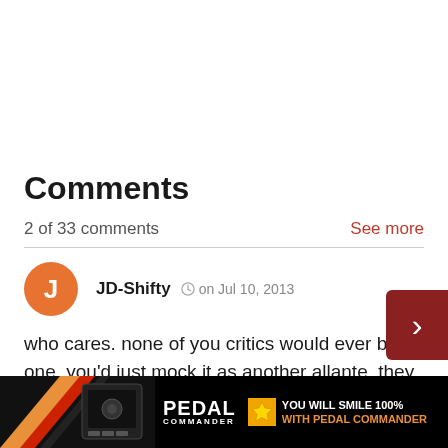Comments
2 of 33 comments
See more
JD-Shifty  on Jul 10, 2013
who cares. none of you critics would ever buy one. you'd just mock it as another allante. they already have a monster of a car in the CTS-V
[Figure (other): Advertisement banner for Pedal Commander: YOU WILL SMILE 100% WITH PEDAL COMMANDER]